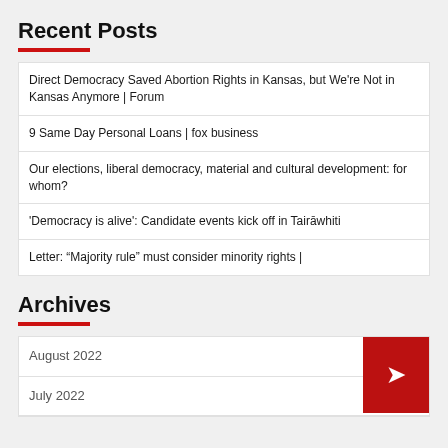Recent Posts
Direct Democracy Saved Abortion Rights in Kansas, but We're Not in Kansas Anymore | Forum
9 Same Day Personal Loans | fox business
Our elections, liberal democracy, material and cultural development: for whom?
'Democracy is alive': Candidate events kick off in Tairāwhiti
Letter: “Majority rule” must consider minority rights |
Archives
August 2022
July 2022